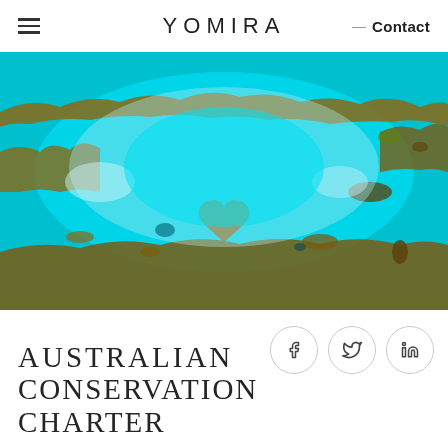YOMIRA | Contact
[Figure (photo): Aerial photograph of the Great Barrier Reef, Australia, showing turquoise lagoon waters surrounded by coral reef formations, including a heart-shaped reef structure in the center.]
[Figure (other): Social media share buttons: Facebook (f), Twitter (bird), LinkedIn (in) — circular outline buttons]
AUSTRALIAN CONSERVATION CHARTER